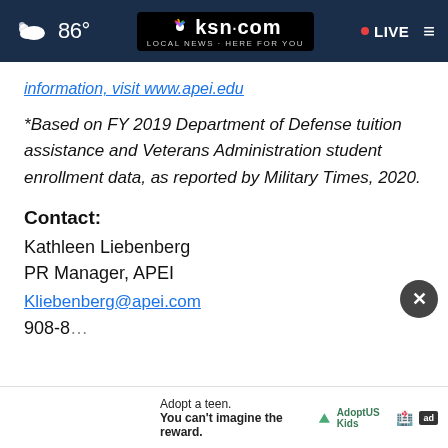[Figure (screenshot): KSN.com website navigation bar with weather icon, temperature 86°, KSN logo, LIVE button, and hamburger menu on dark blue background]
information, visit www.apei.edu
*Based on FY 2019 Department of Defense tuition assistance and Veterans Administration student enrollment data, as reported by Military Times, 2020.
Contact:
Kathleen Liebenberg
PR Manager, APEI
Kliebenberg@apei.com
908-8...
[Figure (screenshot): Ad banner: Adopt a teen. You can't imagine the reward. Adopt US Kids logo and ad icons]